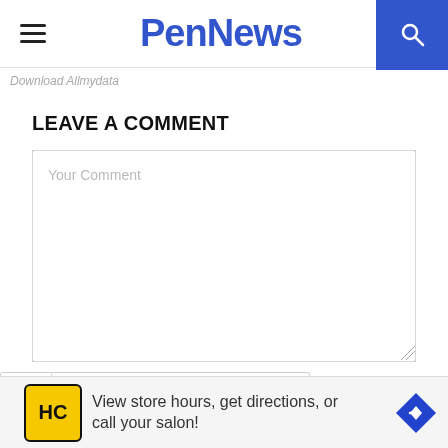PenNews
Download Allmydata
LEAVE A COMMENT
[Figure (screenshot): Comment text area input box with placeholder text 'Your Comment']
ame*
[Figure (infographic): Advertisement banner: HC logo, 'View store hours, get directions, or call your salon!' with navigation arrow icon]